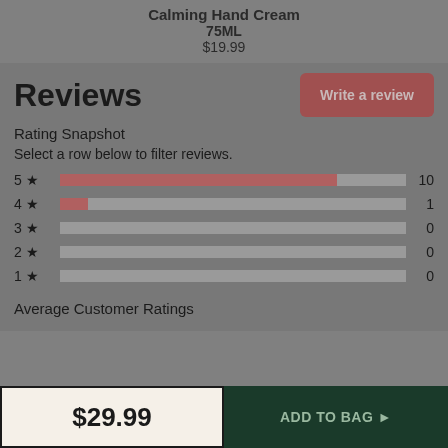Calming Hand Cream
75ML
$19.99
Reviews
Write a review
Rating Snapshot
Select a row below to filter reviews.
[Figure (bar-chart): Rating Snapshot]
Average Customer Ratings
$29.99
ADD TO BAG ▶